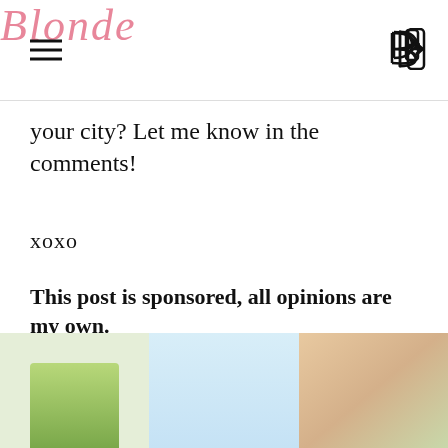Blonde
your city? Let me know in the comments!
xoxo
This post is sponsored, all opinions are my own.
Click here to read Manon's post!
[Figure (photo): Three photos at the bottom of the page showing outdoor scenes with palm trees and a person]